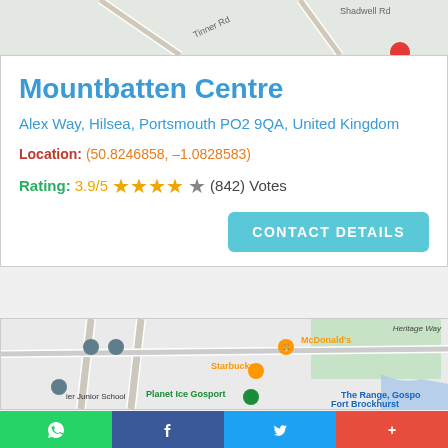[Figure (map): Top portion of a Google Maps view showing roads including Tinner Rd and Shadwell Rd]
Mountbatten Centre
Alex Way, Hilsea, Portsmouth PO2 9QA, United Kingdom
Location: (50.8246858, -1.0828583)
Rating: 3.9/5 ★★★★☆ (842) Votes
CONTACT DETAILS
[Figure (map): Google Maps view showing ier Junior School, McDonald's, Starbucks, Planet Ice Gosport, The Range Gosport, Fort Brockhurst]
WhatsApp | Facebook | Twitter | More